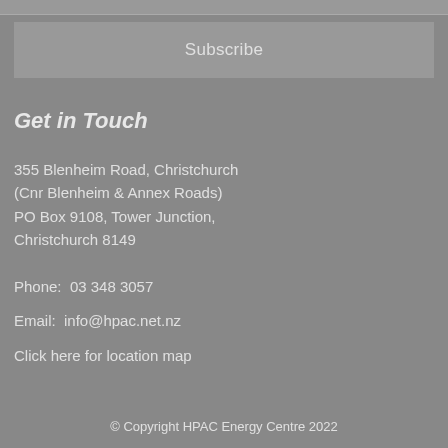Subscribe
Get in Touch
355 Blenheim Road, Christchurch
(Cnr Blenheim & Annex Roads)
PO Box 9108, Tower Junction,
Christchurch 8149
Phone:  03 348 3057
Email:  info@hpac.net.nz
Click here for location map
© Copyright HPAC Energy Centre 2022